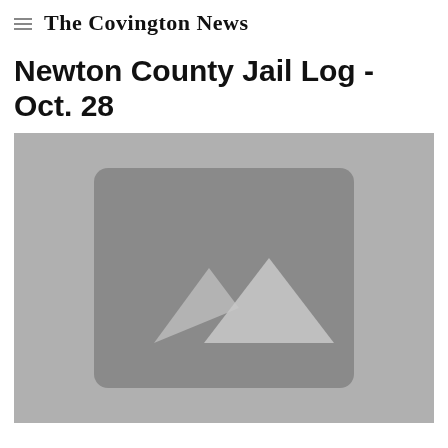The Covington News
Newton County Jail Log - Oct. 28
[Figure (photo): Placeholder image graphic with mountain/landscape icon on grey background]